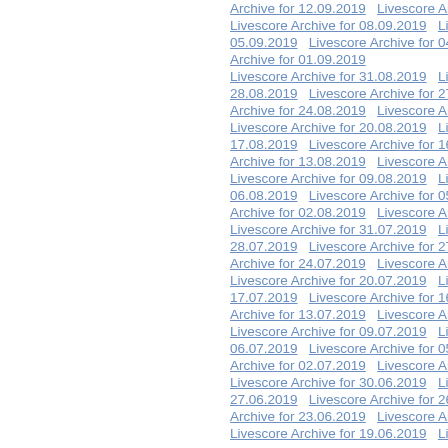Archive for 12.09.2019   Livescore Archive fo...
Livescore Archive for 08.09.2019   Livescore... 05.09.2019   Livescore Archive for 04.09.201... Archive for 01.09.2019
Livescore Archive for 31.08.2019   Livescore... 28.08.2019   Livescore Archive for 27.08.201... Archive for 24.08.2019   Livescore Archive fo...
Livescore Archive for 20.08.2019   Livescore... 17.08.2019   Livescore Archive for 16.08.201... Archive for 13.08.2019   Livescore Archive fo...
Livescore Archive for 09.08.2019   Livescore... 06.08.2019   Livescore Archive for 05.08.201... Archive for 02.08.2019   Livescore Archive for...
Livescore Archive for 31.07.2019   Livescore... 28.07.2019   Livescore Archive for 27.07.201... Archive for 24.07.2019   Livescore Archive fo...
Livescore Archive for 20.07.2019   Livescore... 17.07.2019   Livescore Archive for 16.07.201... Archive for 13.07.2019   Livescore Archive fo...
Livescore Archive for 09.07.2019   Livescore... 06.07.2019   Livescore Archive for 05.07.201... Archive for 02.07.2019   Livescore Archive for...
Livescore Archive for 30.06.2019   Livescore... 27.06.2019   Livescore Archive for 26.06.201... Archive for 23.06.2019   Livescore Archive fo...
Livescore Archive for 19.06.2019   Livescore...